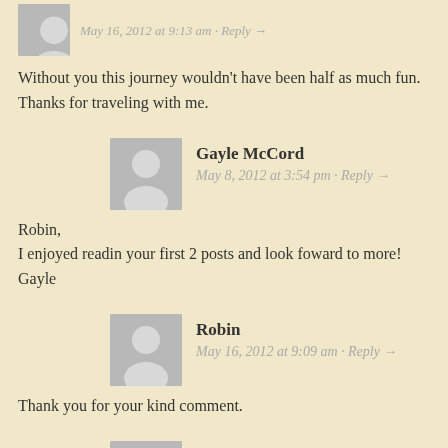May 16, 2012 at 9:13 am · Reply →
Without you this journey wouldn't have been half as much fun. Thanks for traveling with me.
Gayle McCord
May 8, 2012 at 3:54 pm · Reply →
Robin,
I enjoyed readin your first 2 posts and look foward to more!
Gayle
Robin
May 16, 2012 at 9:09 am · Reply →
Thank you for your kind comment.
Lynn